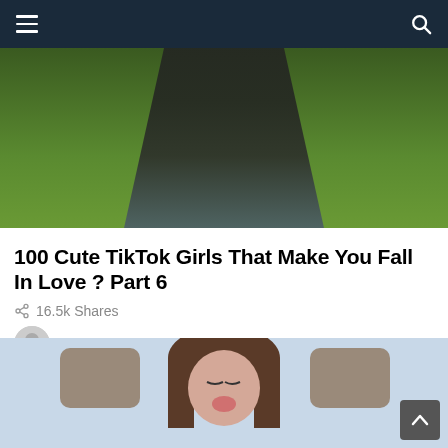[Figure (photo): Outdoor photo showing a person from behind wearing a dark black top, with green grass in the background]
100 Cute TikTok Girls That Make You Fall In Love ? Part 6
16.5k Shares
by VideoFeed TV  12 months ago
[Figure (photo): Young woman taking a selfie in a car, making a kissy face with eyes closed, long brown hair, sitting in back seat]